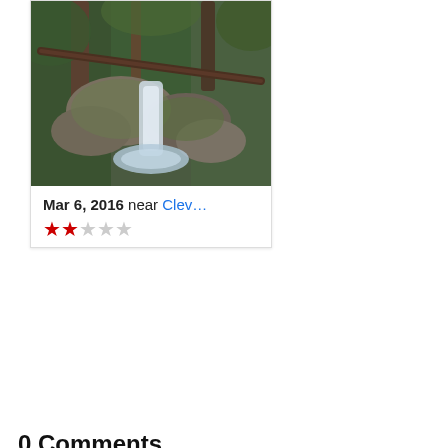[Figure (photo): Nature photo showing a waterfall cascading over mossy rocks with trees, inside a card]
Mar 6, 2016 near Clev...
★★☆☆☆ (2 out of 5 stars)
0 Comments
Write a comment
Weather
Today Sat Sun Mon Tue